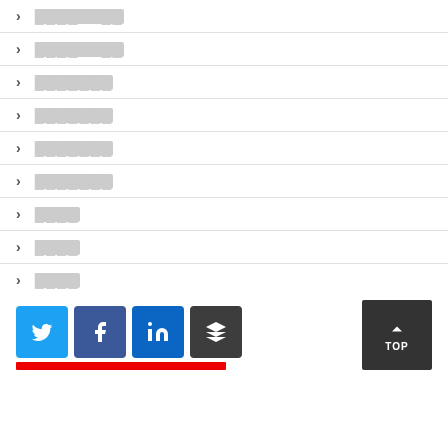▶ ████ & ██
▶ ████ & ██
▶ ███████
▶ ███████
▶ ███████
▶ ███████
▶ ████
▶ ████
▶ ████
[Figure (other): Social share buttons: Twitter, Facebook, LinkedIn, Buffer; red bar below; TOP scroll button]